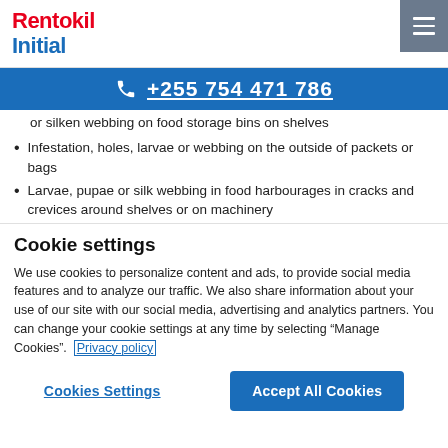Rentokil Initial
+255 754 471 786
or silken webbing on food storage bins on shelves
Infestation, holes, larvae or webbing on the outside of packets or bags
Larvae, pupae or silk webbing in food harbourages in cracks and crevices around shelves or on machinery
Cookie settings
We use cookies to personalize content and ads, to provide social media features and to analyze our traffic. We also share information about your use of our site with our social media, advertising and analytics partners. You can change your cookie settings at any time by selecting “Manage Cookies”.  Privacy policy
Cookies Settings  Accept All Cookies